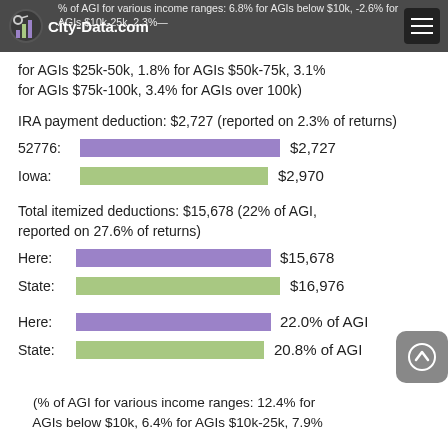City-Data.com — % of AGI for various income ranges: 6.8% for AGIs below $10k, -2.6% for AGIs $10k-25k, 2.3% for AGIs $25k-50k, 1.8% for AGIs $50k-75k, 3.1% for AGIs $75k-100k, 3.4% for AGIs over 100k)
for AGIs $25k-50k, 1.8% for AGIs $50k-75k, 3.1% for AGIs $75k-100k, 3.4% for AGIs over 100k)
IRA payment deduction: $2,727 (reported on 2.3% of returns)
[Figure (bar-chart): IRA payment deduction]
Total itemized deductions: $15,678 (22% of AGI, reported on 27.6% of returns)
[Figure (bar-chart): Total itemized deductions]
[Figure (bar-chart): % of AGI]
(% of AGI for various income ranges: 12.4% for AGIs below $10k, 6.4% for AGIs $10k-25k, 7.9%